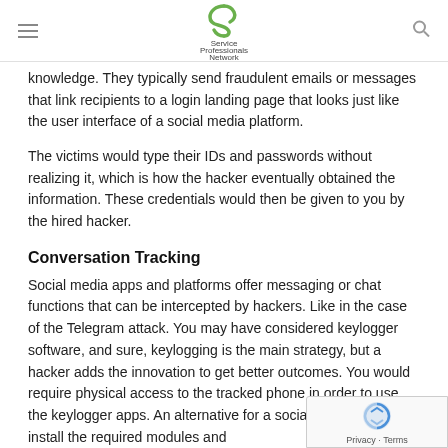Service Professionals Network
knowledge. They typically send fraudulent emails or messages that link recipients to a login landing page that looks just like the user interface of a social media platform.
The victims would type their IDs and passwords without realizing it, which is how the hacker eventually obtained the information. These credentials would then be given to you by the hired hacker.
Conversation Tracking
Social media apps and platforms offer messaging or chat functions that can be intercepted by hackers. Like in the case of the Telegram attack. You may have considered keylogger software, and sure, keylogging is the main strategy, but a hacker adds the innovation to get better outcomes. You would require physical access to the tracked phone in order to use the keylogger apps. An alternative for a social media hacker to install the required modules and